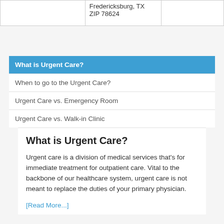|  |  |  |
| --- | --- | --- |
|  | Fredericksburg, TX
ZIP 78624 |  |
What is Urgent Care?
When to go to the Urgent Care?
Urgent Care vs. Emergency Room
Urgent Care vs. Walk-in Clinic
What is Urgent Care?
Urgent care is a division of medical services that's for immediate treatment for outpatient care. Vital to the backbone of our healthcare system, urgent care is not meant to replace the duties of your primary physician.
[Read More...]